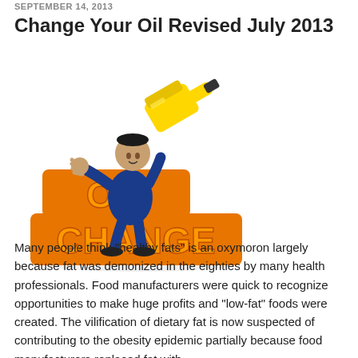SEPTEMBER 14, 2013
Change Your Oil Revised July 2013
[Figure (illustration): A cartoon 3D character in a blue suit pushing away a large yellow oil can/bottle, standing on top of large orange 3D letters spelling 'OIL CHANGE']
Many people think “healthy fats” is an oxymoron largely because fat was demonized in the eighties by many health professionals. Food manufacturers were quick to recognize opportunities to make huge profits and “low-fat” foods were created. The vilification of dietary fat is now suspected of contributing to the obesity epidemic partially because food manufacturers replaced fat with